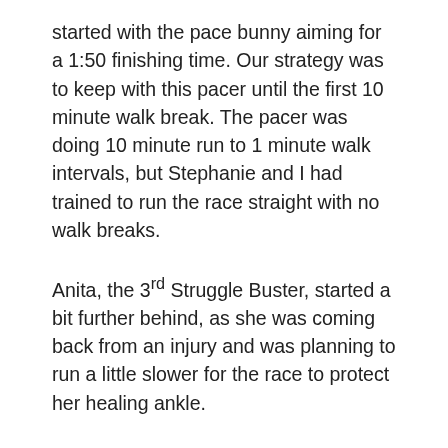started with the pace bunny aiming for a 1:50 finishing time. Our strategy was to keep with this pacer until the first 10 minute walk break. The pacer was doing 10 minute run to 1 minute walk intervals, but Stephanie and I had trained to run the race straight with no walk breaks.
Anita, the 3rd Struggle Buster, started a bit further behind, as she was coming back from an injury and was planning to run a little slower for the race to protect her healing ankle.